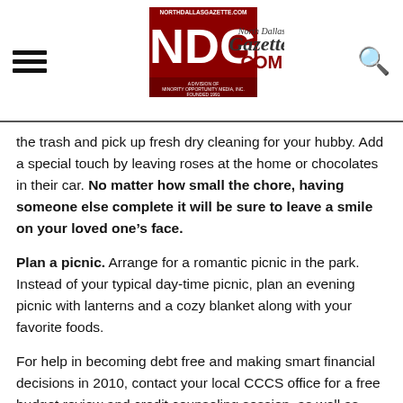North Dallas Gazette .COM — NDG logo header with hamburger menu and search icon
the trash and pick up fresh dry cleaning for your hubby. Add a special touch by leaving roses at the home or chocolates in their car. No matter how small the chore, having someone else complete it will be sure to leave a smile on your loved one’s face.
Plan a picnic. Arrange for a romantic picnic in the park. Instead of your typical day-time picnic, plan an evening picnic with lanterns and a cozy blanket along with your favorite foods.
For help in becoming debt free and making smart financial decisions in 2010, contact your local CCCS office for a free budget review and credit counseling session, as well as more information on financial education and free debt seminars, at (800) 249-2227 or visit www.cccs.net. CCCS of Greater Dallas